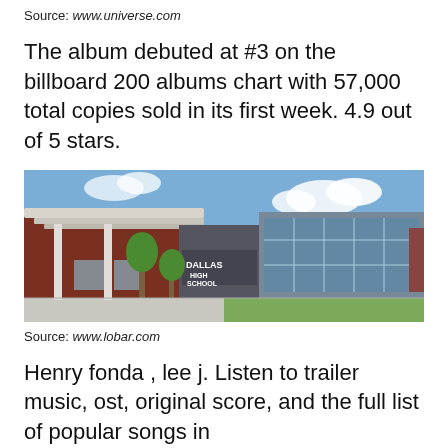Source: www.universe.com
The album debuted at #3 on the billboard 200 albums chart with 57,000 total copies sold in its first week. 4.9 out of 5 stars.
[Figure (photo): Exterior photo of Dallas High School building, a modern red brick and glass structure with a large canopy entrance, trees in front, blue sky with clouds.]
Source: www.lobar.com
Henry fonda , lee j. Listen to trailer music, ost, original score, and the full list of popular songs in